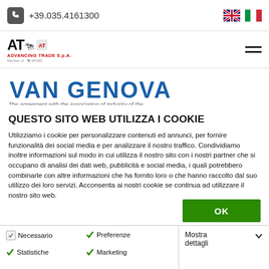+39.035.4161300
[Figure (logo): Advancing Trade S.p.A. AT logo with cow icon, Member of WCMS]
[Figure (logo): VAN GENOVA logo in blue]
QUESTO SITO WEB UTILIZZA I COOKIE
Utilizziamo i cookie per personalizzare contenuti ed annunci, per fornire funzionalità dei social media e per analizzare il nostro traffico. Condividiamo inoltre informazioni sul modo in cui utilizza il nostro sito con i nostri partner che si occupano di analisi dei dati web, pubblicità e social media, i quali potrebbero combinarle con altre informazioni che ha fornito loro o che hanno raccolto dal suo utilizzo dei loro servizi. Acconsenta ai nostri cookie se continua ad utilizzare il nostro sito web.
OK
Necessario  Preferenze  Statistiche  Marketing  Mostra dettagli